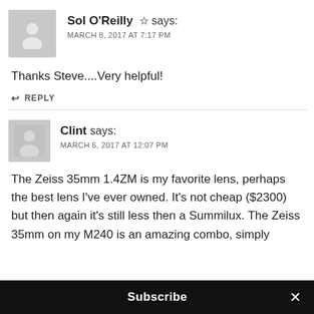[Figure (illustration): Gray avatar placeholder icon for Sol O'Reilly comment]
Sol O'Reilly ☆ says:
MARCH 8, 2017 AT 7:17 PM
Thanks Steve....Very helpful!
↩ REPLY
[Figure (illustration): Gray avatar placeholder icon for Clint comment]
Clint says:
MARCH 6, 2017 AT 12:07 PM
The Zeiss 35mm 1.4ZM is my favorite lens, perhaps the best lens I've ever owned. It's not cheap ($2300) but then again it's still less then a Summilux. The Zeiss 35mm on my M240 is an amazing combo, simply
Subscribe